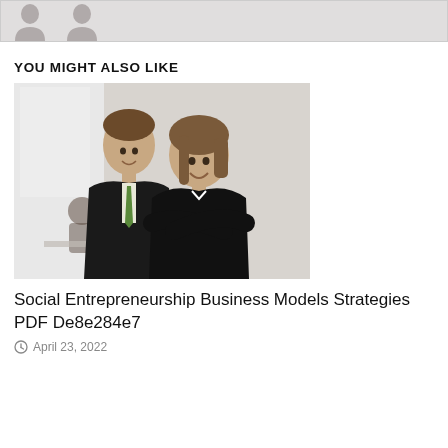[Figure (photo): Top bar showing two partial silhouette/avatar icons of people on a light gray background]
YOU MIGHT ALSO LIKE
[Figure (photo): Photo of two young business professionals in black jackets smiling at camera, with a third person blurred in background in an office setting]
Social Entrepreneurship Business Models Strategies PDF De8e284e7
April 23, 2022